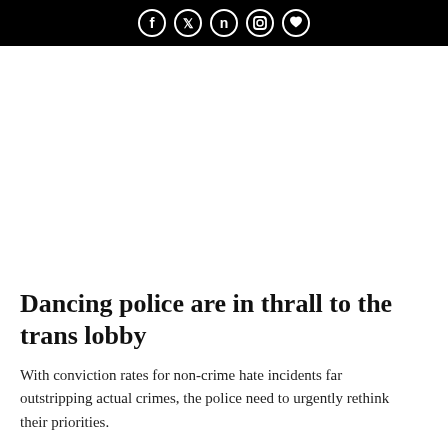Social media icons: Facebook, Twitter, Nextdoor, Instagram, heart/save
Dancing police are in thrall to the trans lobby
With conviction rates for non-crime hate incidents far outstripping actual crimes, the police need to urgently rethink their priorities.
Noel Yaxley | UK